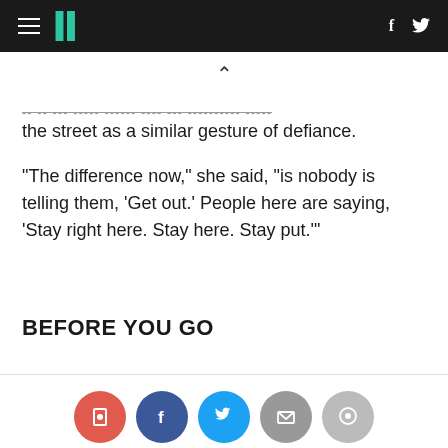HuffPost navigation with hamburger menu, logo, Facebook and Twitter icons
... ... ... ...... ...... .... ... .......... ....
the street as a similar gesture of defiance.
"The difference now," she said, "is nobody is telling them, 'Get out.' People here are saying, 'Stay right here. Stay here. Stay put.'"
BEFORE YOU GO
[Figure (infographic): Row of five social sharing buttons: bookmark (red), Facebook (dark blue), Twitter (blue), email (grey), comment (light grey)]